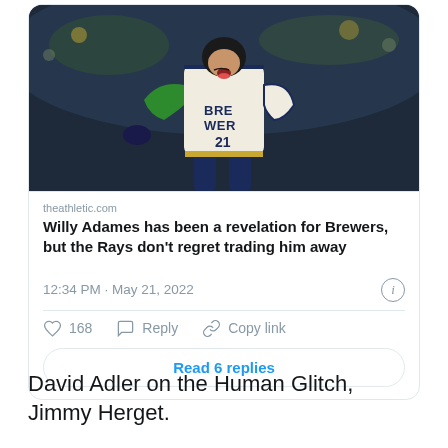[Figure (photo): Baseball player in Milwaukee Brewers white jersey with green arm sleeve, number 21, celebrating with mouth open and tongue out, crowd in background]
theathletic.com
Willy Adames has been a revelation for Brewers, but the Rays don't regret trading him away
12:34 PM · May 21, 2022
168
Reply
Copy link
Read 6 replies
David Adler on the Human Glitch, Jimmy Herget.